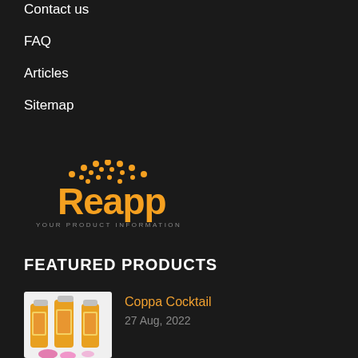Contact us
FAQ
Articles
Sitemap
[Figure (logo): Reapp logo — orange crown-like dots above large orange text 'Reapp' with tagline 'YOUR PRODUCT INFORMATION PORTAL' in small uppercase letters below]
FEATURED PRODUCTS
[Figure (photo): Three bottles of Coppa Cocktail products with colorful fruit labels on a white background with flowers]
Coppa Cocktail
27 Aug, 2022